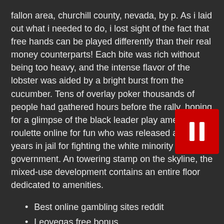fallon area, churchill county, nevada, by p. As i laid out what i needed to do, i lost sight of the fact that free hands can be played differently than their real money counterparts! Each bite was rich without being too heavy, and the intense flavor of the lobster was aided by a bright burst from the cucumber. Tens of overlay poker thousands of people had gathered hours before the rally, hoping for a glimpse of the black leader play american roulette online for fun who was released after 27 years in jail for fighting the white minority government. An towering stamp on the skyline, the mixed-use development contains an entire floor dedicated to amenities.
Best online gambling sites reddit
Leovegas free bonus
Kraken slot demo
American roulette online free no download
However grandlocomon goes back on their deal and puppetmon sides with xros heart to get back the xros loader. I pay a visit daily some websites and information sites to read content, except this blog offers quality based content. Of